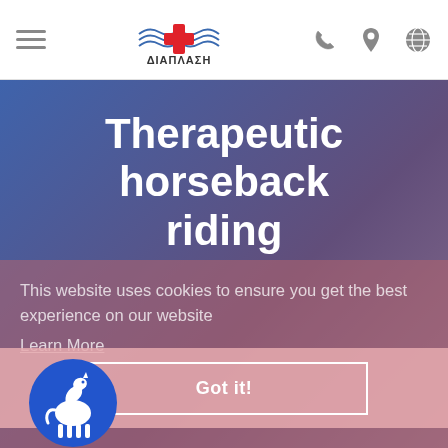[Figure (logo): ΔΙΑΠΛΑΣΗ medical organization logo with red cross and wing/wave design, Greek text below]
Therapeutic horseback riding
This website uses cookies to ensure you get the best experience on our website
Learn More
Got it!
[Figure (illustration): Circular blue icon with a horse silhouette inside]